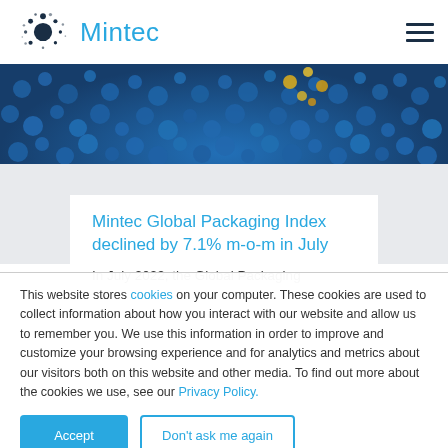Mintec
[Figure (photo): Close-up photo of blue plastic pellets/granules with yellow and colorful pellets/coins visible at top right]
Mintec Global Packaging Index declined by 7.1% m-o-m in July
In July 2022, the Global Packaging
This website stores cookies on your computer. These cookies are used to collect information about how you interact with our website and allow us to remember you. We use this information in order to improve and customize your browsing experience and for analytics and metrics about our visitors both on this website and other media. To find out more about the cookies we use, see our Privacy Policy.
Accept
Don't ask me again